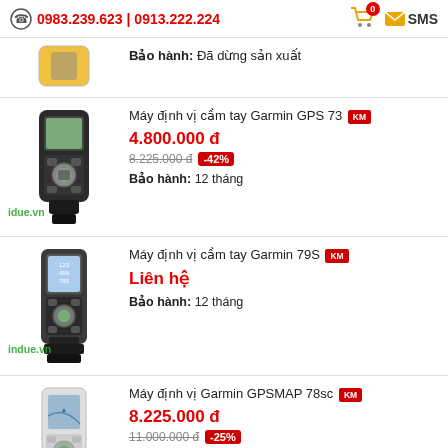0983.239.623 | 0913.222.224  SMS
Bảo hành: Đã dừng sản xuất
Máy định vị cầm tay Garmin GPS 73 KM
4.800.000 đ
8.225.000 đ -42%
Bảo hành: 12 tháng
Máy định vị cầm tay Garmin 79S KM
Liên hệ
Bảo hành: 12 tháng
Máy định vị Garmin GPSMAP 78sc KM
8.225.000 đ
11.000.000 đ -25%